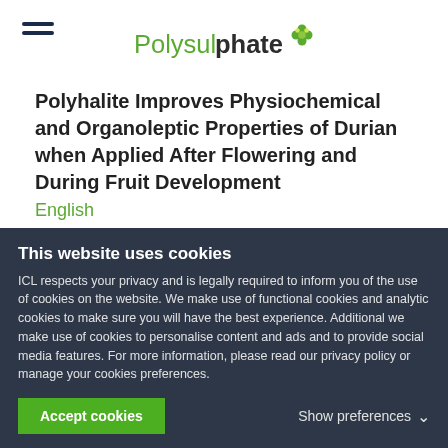Polysulphate
Polyhalite Improves Physiochemical and Organoleptic Properties of Durian when Applied After Flowering and During Fruit Development
English
Effects of Combined Application of NPK Compound Fertilizer with Polyhalite Fertilizers
This website uses cookies
ICL respects your privacy and is legally required to inform you of the use of cookies on the website. We make use of functional cookies and analytic cookies to make sure you will have the best experience. Additional we make use of cookies to personalise content and ads and to provide social media features. For more information, please read our privacy policy or manage your cookies preferences.
Accept cookies
Show preferences